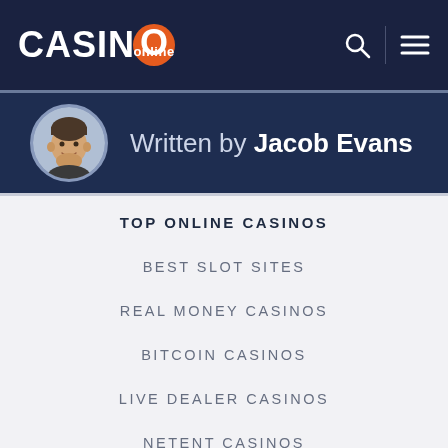CASINO Online
Written by Jacob Evans
TOP ONLINE CASINOS
BEST SLOT SITES
REAL MONEY CASINOS
BITCOIN CASINOS
LIVE DEALER CASINOS
NETENT CASINOS